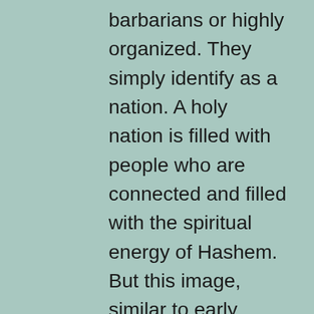barbarians or highly organized. They simply identify as a nation. A holy nation is filled with people who are connected and filled with the spiritual energy of Hashem. But this image, similar to early Christian images of the ideal society, isn't enough because it doesn't happen spontaneously. You can't start with Kedusha. First, you must be Mamlechet Kohanim – an organized Kingdom of servants of G-d following G-d's law and enabling the conversion of physical creation to spiritual energy. Only then can they be a Goi Kadosh – having such